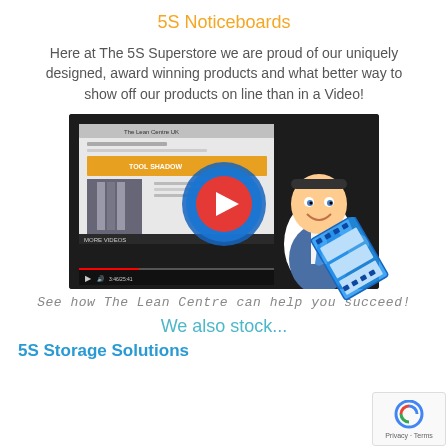5S Noticeboards
Here at The 5S Superstore we are proud of our uniquely designed, award winning products and what better way to show off our products on line than in a Video!
[Figure (screenshot): Embedded video thumbnail showing The Lean Centre UK website with a play button overlay and a cartoon businessman character, with a film strip graphic in the corner.]
See how The Lean Centre can help you succeed!
We also stock...
5S Storage Solutions